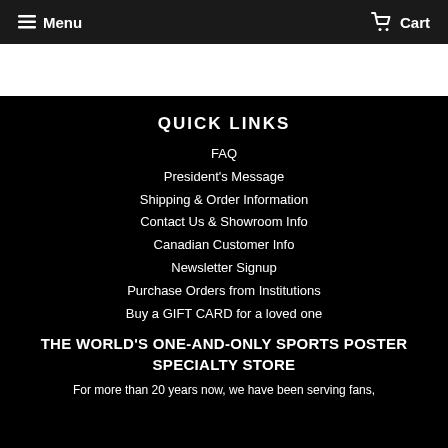Menu  Cart
QUICK LINKS
FAQ
President's Message
Shipping & Order Information
Contact Us & Showroom Info
Canadian Customer Info
Newsletter Signup
Purchase Orders from Institutions
Buy a GIFT CARD for a loved one
THE WORLD'S ONE-AND-ONLY SPORTS POSTER SPECIALTY STORE
For more than 20 years now, we have been serving fans,